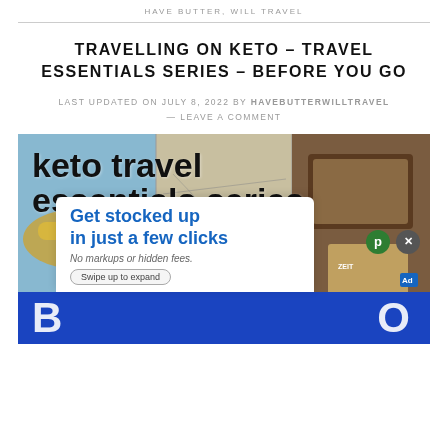HAVE BUTTER, WILL TRAVEL
TRAVELLING ON KETO – TRAVEL ESSENTIALS SERIES – BEFORE YOU GO
LAST UPDATED ON JULY 8, 2022 BY HAVEBUTTERWILLTRAVEL — LEAVE A COMMENT
[Figure (photo): Keto travel essentials series promotional image with airplane, map, passport, and bold text overlay reading 'keto travel essentials series' and 'BEFORE YOU GO'. An advertisement overlay reads 'Get stocked up in just a few clicks. No markups or hidden fees.']